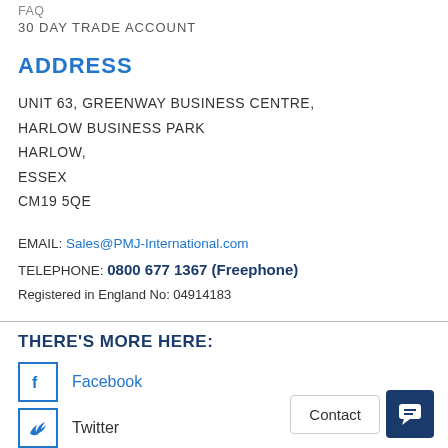FAQ
30 DAY TRADE ACCOUNT
ADDRESS
UNIT 63, GREENWAY BUSINESS CENTRE,
HARLOW BUSINESS PARK
HARLOW,
ESSEX
CM19 5QE
EMAIL: Sales@PMJ-International.com
TELEPHONE: 0800 677 1367 (Freephone)
Registered in England No: 04914183
THERE'S MORE HERE:
Facebook
Twitter